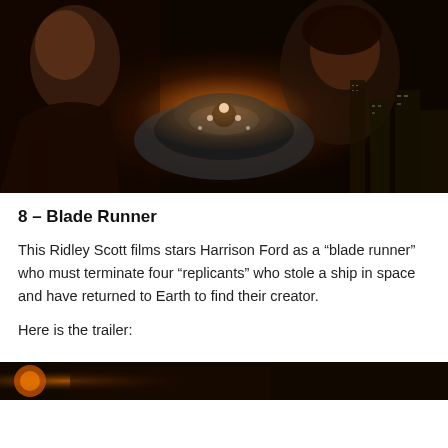[Figure (photo): Blade Runner movie poster showing Harrison Ford and a woman in dark sci-fi setting with a large spacecraft in the center]
8 – Blade Runner
This Ridley Scott films stars Harrison Ford as a “blade runner” who must terminate four “replicants” who stole a ship in space and have returned to Earth to find their creator.
Here is the trailer:
[Figure (screenshot): Bottom portion of a video trailer thumbnail, partially visible]